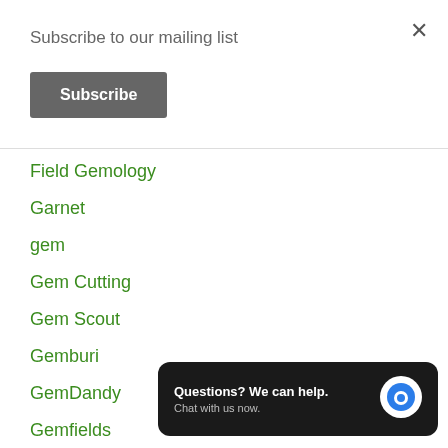×
Subscribe to our mailing list
Subscribe
Field Gemology
Garnet
gem
Gem Cutting
Gem Scout
Gemburi
GemDandy
Gemfields
gemological laboratory
gemology
Questions? We can help. Chat with us now.